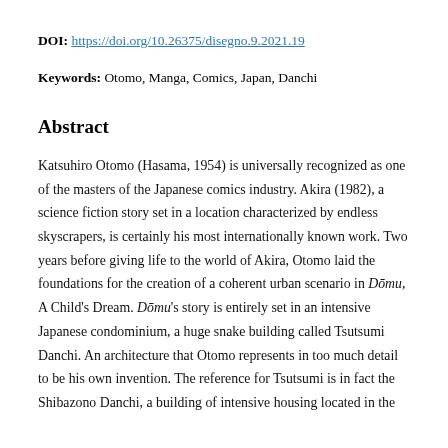DOI: https://doi.org/10.26375/disegno.9.2021.19
Keywords: Otomo, Manga, Comics, Japan, Danchi
Abstract
Katsuhiro Otomo (Hasama, 1954) is universally recognized as one of the masters of the Japanese comics industry. Akira (1982), a science fiction story set in a location characterized by endless skyscrapers, is certainly his most internationally known work. Two years before giving life to the world of Akira, Otomo laid the foundations for the creation of a coherent urban scenario in Dōmu, A Child's Dream. Dōmu's story is entirely set in an intensive Japanese condominium, a huge snake building called Tsutsumi Danchi. An architecture that Otomo represents in too much detail to be his own invention. The reference for Tsutsumi is in fact the Shibazono Danchi, a building of intensive housing located in the